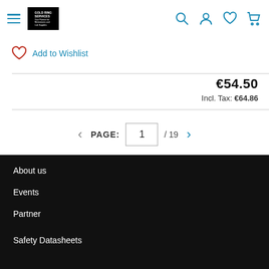Navigation header with hamburger menu, logo, search, account, wishlist, and cart icons
Add to Wishlist
€54.50
Incl. Tax: €64.86
PAGE: 1 /19
About us
Events
Partner
Safety Datasheets